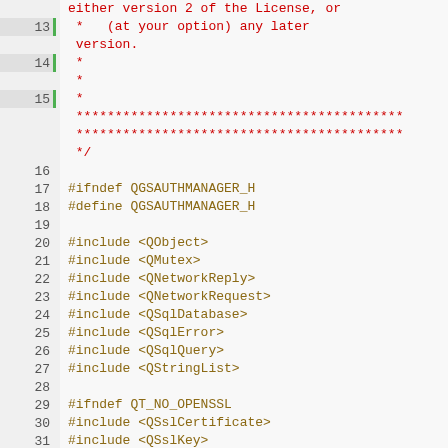Source code viewer showing lines 13-39 of a C++ header file (qgsauthmanager.h). Lines include license comment continuation, preprocessor guards #ifndef/#define QGSAUTHMANAGER_H, #include directives for Qt headers (QObject, QMutex, QNetworkReply, QNetworkRequest, QSqlDatabase, QSqlError, QSqlQuery, QStringList), conditional OpenSSL includes (QSslCertificate, QSslKey, QtCrypto, qgsauthcertutils.h), and local includes qgsauthconfig.h, qgsauthmethod.h, qgsdatasourceuri.h.